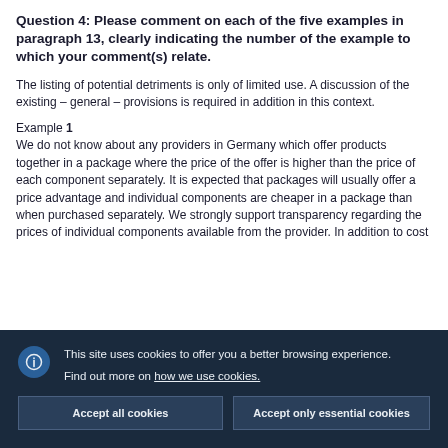Question 4: Please comment on each of the five examples in paragraph 13, clearly indicating the number of the example to which your comment(s) relate.
The listing of potential detriments is only of limited use. A discussion of the existing – general – provisions is required in addition in this context.
Example 1
We do not know about any providers in Germany which offer products together in a package where the price of the offer is higher than the price of each component separately. It is expected that packages will usually offer a price advantage and individual components are cheaper in a package than when purchased separately. We strongly support transparency regarding the prices of individual components available from the provider. In addition to cost
This site uses cookies to offer you a better browsing experience.
Find out more on how we use cookies.
Accept all cookies
Accept only essential cookies